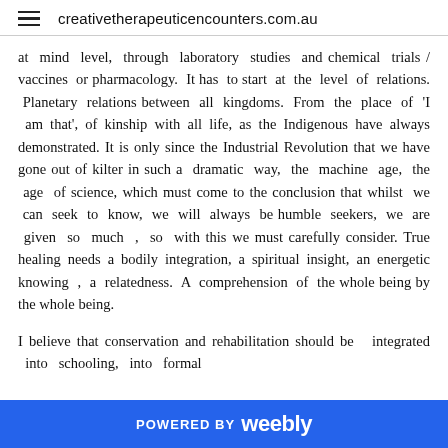creativetherapeuticencounters.com.au
at mind level, through laboratory studies and chemical trials / vaccines or pharmacology. It has to start at the level of relations. Planetary relations between all kingdoms. From the place of 'I am that', of kinship with all life, as the Indigenous have always demonstrated. It is only since the Industrial Revolution that we have gone out of kilter in such a dramatic way, the machine age, the age of science, which must come to the conclusion that whilst we can seek to know, we will always be humble seekers, we are given so much , so with this we must carefully consider. True healing needs a bodily integration, a spiritual insight, an energetic knowing , a relatedness. A comprehension of the whole being by the whole being.
I believe that conservation and rehabilitation should be integrated into schooling, into formal
POWERED BY weebly